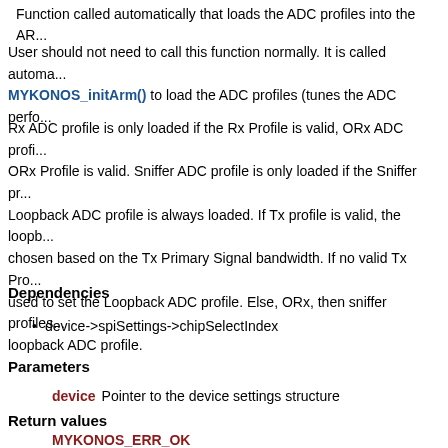Function called automatically that loads the ADC profiles into the AR...
User should not need to call this function normally. It is called automa... MYKONOS_initArm() to load the ADC profiles (tunes the ADC perfo...
Rx ADC profile is only loaded if the Rx Profile is valid, ORx ADC profi... ORx Profile is valid. Sniffer ADC profile is only loaded if the Sniffer pr... Loopback ADC profile is always loaded. If Tx profile is valid, the loopb... chosen based on the Tx Primary Signal bandwidth. If no valid Tx Pro... used to set the Loopback ADC profile. Else, ORx, then sniffer profiles... loopback ADC profile.
Dependencies
device->spiSettings->chipSelectIndex
Parameters
device Pointer to the device settings structure
Return values
MYKONOS_ERR_OK